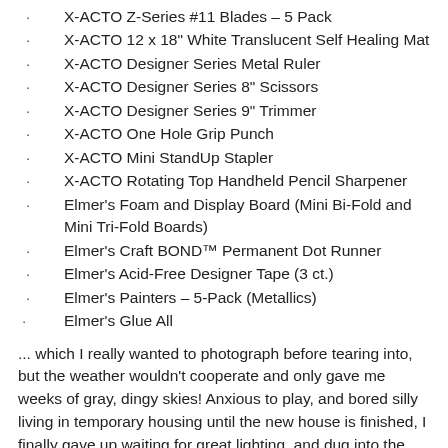X-ACTO Z-Series #11 Blades – 5 Pack
X-ACTO 12 x 18" White Translucent Self Healing Mat
X-ACTO Designer Series Metal Ruler
X-ACTO Designer Series 8" Scissors
X-ACTO Designer Series 9" Trimmer
X-ACTO One Hole Grip Punch
X-ACTO Mini StandUp Stapler
X-ACTO Rotating Top Handheld Pencil Sharpener
Elmer's Foam and Display Board (Mini Bi-Fold and Mini Tri-Fold Boards)
Elmer's Craft BOND™ Permanent Dot Runner
Elmer's Acid-Free Designer Tape (3 ct.)
Elmer's Painters – 5-Pack (Metallics)
Elmer's Glue All
... which I really wanted to photograph before tearing into, but the weather wouldn't cooperate and only gave me weeks of gray, dingy skies! Anxious to play, and bored silly living in temporary housing until the new house is finished, I finally gave up waiting for great lighting, and dug into the box, cutting, pasting, cutting again, and generally playing like a little kid.